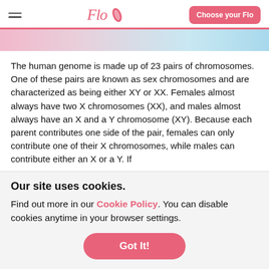Flo — Choose your Flo
The human genome is made up of 23 pairs of chromosomes. One of these pairs are known as sex chromosomes and are characterized as being either XY or XX. Females almost always have two X chromosomes (XX), and males almost always have an X and a Y chromosome (XY). Because each parent contributes one side of the pair, females can only contribute one of their X chromosomes, while males can contribute either an X or a Y. If
Our site uses cookies.
Find out more in our Cookie Policy. You can disable cookies anytime in your browser settings.